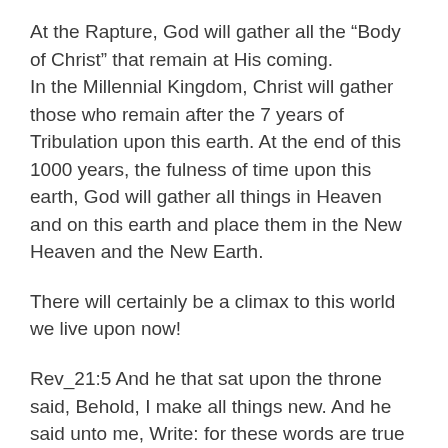At the Rapture, God will gather all the “Body of Christ” that remain at His coming. In the Millennial Kingdom, Christ will gather those who remain after the 7 years of Tribulation upon this earth. At the end of this 1000 years, the fulness of time upon this earth, God will gather all things in Heaven and on this earth and place them in the New Heaven and the New Earth.
There will certainly be a climax to this world we live upon now!
Rev_21:5 And he that sat upon the throne said, Behold, I make all things new. And he said unto me, Write: for these words are true and faithful.
All these things will be gathered in Jesus Christ...